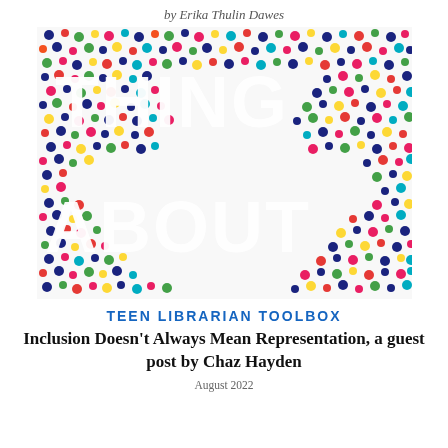by Erika Thulin Dawes
[Figure (photo): Book cover showing colorful dots/circles on white background with text partially visible reading 'THING ABOUT']
TEEN LIBRARIAN TOOLBOX
Inclusion Doesn't Always Mean Representation, a guest post by Chaz Hayden
August 2022